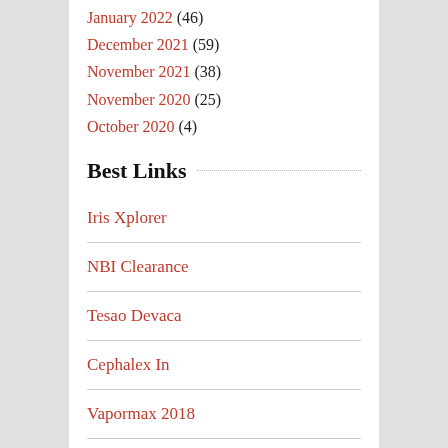January 2022 (46)
December 2021 (59)
November 2021 (38)
November 2020 (25)
October 2020 (4)
Best Links
Iris Xplorer
NBI Clearance
Tesao Devaca
Cephalex In
Vapormax 2018